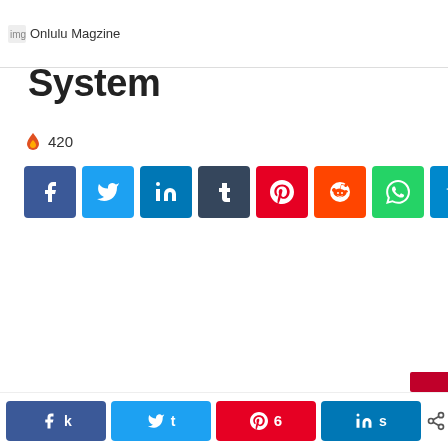Onlulu Magzine
Weaken Your Immune System
🔥 420
[Figure (infographic): Social media share buttons: Facebook (blue), Twitter (light blue), LinkedIn (dark blue), Tumblr (dark slate), Pinterest (red), Reddit (orange-red), WhatsApp (green), Telegram (blue)]
k (Facebook share) t (Twitter share) 6 (Pinterest) s (LinkedIn) < 6 SHARES